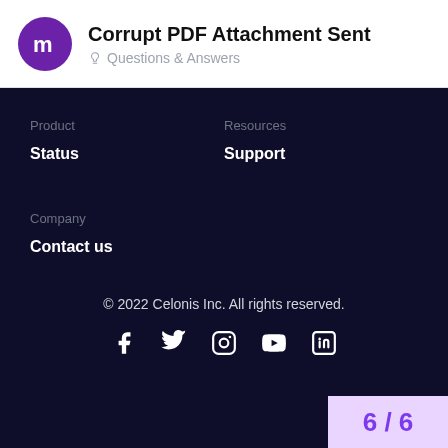Corrupt PDF Attachment Sent — Questions & Answers
Product
Status
Resources
Support
Company
Contact us
© 2022 Celonis Inc. All rights reserved.
6 / 6